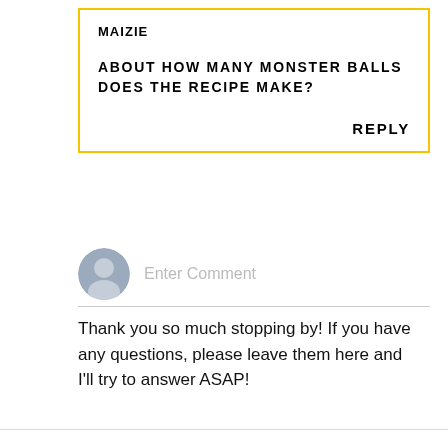MAIZIE
ABOUT HOW MANY MONSTER BALLS DOES THE RECIPE MAKE?
REPLY
[Figure (illustration): Generic user avatar icon — grey circular silhouette of a person]
Enter Comment
Thank you so much stopping by! If you have any questions, please leave them here and I'll try to answer ASAP!